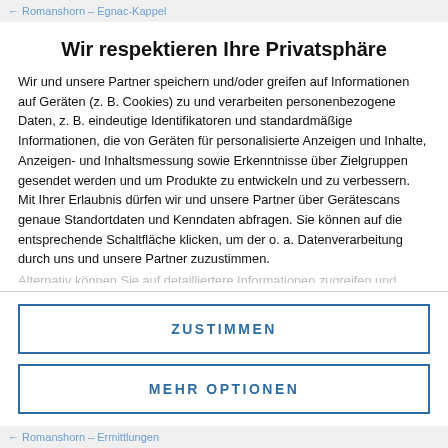← Romanshorn - Egnac-Kappel
Wir respektieren Ihre Privatsphäre
Wir und unsere Partner speichern und/oder greifen auf Informationen auf Geräten (z. B. Cookies) zu und verarbeiten personenbezogene Daten, z. B. eindeutige Identifikatoren und standardmäßige Informationen, die von Geräten für personalisierte Anzeigen und Inhalte, Anzeigen- und Inhaltsmessung sowie Erkenntnisse über Zielgruppen gesendet werden und um Produkte zu entwickeln und zu verbessern. Mit Ihrer Erlaubnis dürfen wir und unsere Partner über Gerätescans genaue Standortdaten und Kenndaten abfragen. Sie können auf die entsprechende Schaltfläche klicken, um der o. a. Datenverarbeitung durch uns und unsere Partner zuzustimmen.
Alternativ können Sie auf detailliertere Informationen zugreifen und
ZUSTIMMEN
MEHR OPTIONEN
← Romanshorn - Ermittlungen